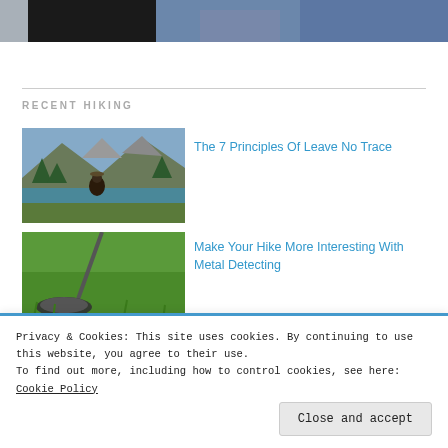[Figure (photo): Top banner showing a person in jeans with a dark rectangle overlay]
RECENT HIKING
[Figure (photo): Person sitting by a mountain lake with trees and rocky peaks in background]
The 7 Principles Of Leave No Trace
[Figure (photo): Metal detector on green grass]
Make Your Hike More Interesting With Metal Detecting
Privacy & Cookies: This site uses cookies. By continuing to use this website, you agree to their use.
To find out more, including how to control cookies, see here: Cookie Policy
Close and accept